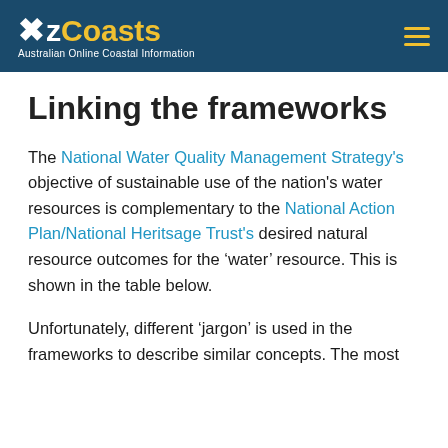OzCoasts – Australian Online Coastal Information
Linking the frameworks
The National Water Quality Management Strategy's objective of sustainable use of the nation's water resources is complementary to the National Action Plan/National Heritsage Trust's desired natural resource outcomes for the 'water' resource. This is shown in the table below.
Unfortunately, different 'jargon' is used in the frameworks to describe similar concepts. The most